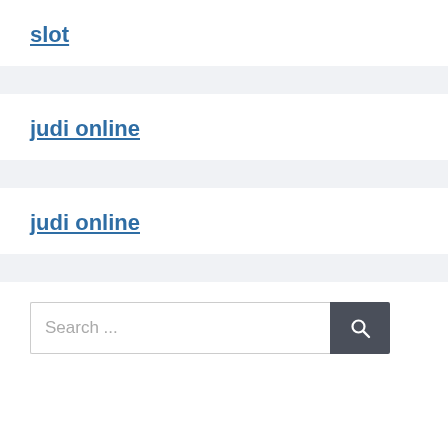slot
judi online
judi online
Search ...